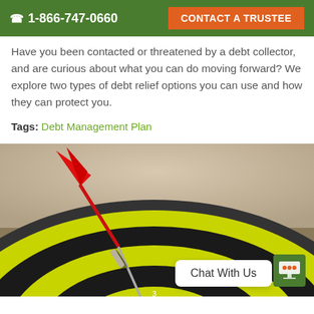☎ 1-866-747-0660   CONTACT A TRUSTEE
Have you been contacted or threatened by a debt collector, and are curious about what you can do moving forward? We explore two types of debt relief options you can use and how they can protect you.
Tags: Debt Management Plan
[Figure (photo): A red dart hitting the bullseye of a yellow and black dartboard, photographed close-up with shallow depth of field.]